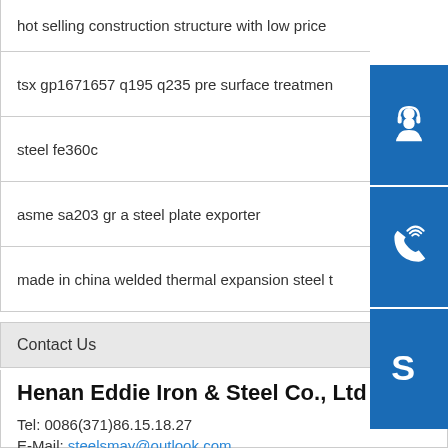hot selling construction structure with low price
tsx gp1671657 q195 q235 pre surface treatment
steel fe360c
asme sa203 gr a steel plate exporter
made in china welded thermal expansion steel t
Contact Us
Henan Eddie Iron & Steel Co., Ltd
Tel: 0086(371)86.15.18.27
E-Mail: steelsmay@outlook.com
Address: Development Zone, Zhengzhou, China